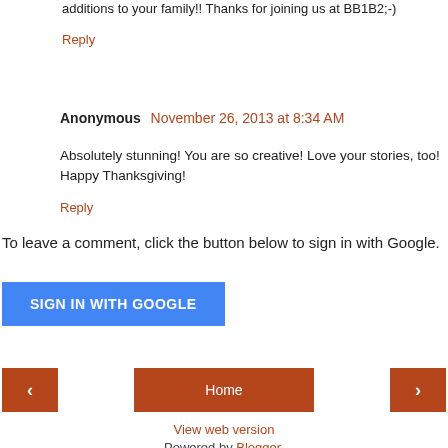additions to your family!! Thanks for joining us at BB1B2;-)
Reply
Anonymous November 26, 2013 at 8:34 AM
Absolutely stunning! You are so creative! Love your stories, too! Happy Thanksgiving!
Reply
To leave a comment, click the button below to sign in with Google.
[Figure (other): Blue 'SIGN IN WITH GOOGLE' button]
[Figure (other): Navigation bar with left arrow, Home button, and right arrow, all in burnt orange color]
View web version
Powered by Blogger.